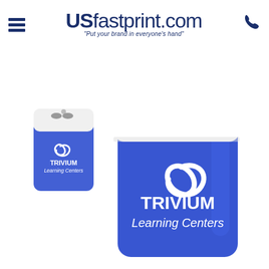USfastprint.com - Put your brand in everyone's hand
[Figure (photo): Two blue and white pencil sharpeners branded with Trivium Learning Centers logo. Left sharpener shown open with lid flipped up, right sharpener shown closed. Both have a translucent blue body and white lid with a swirl logo and TRIVIUM Learning Centers text in white.]